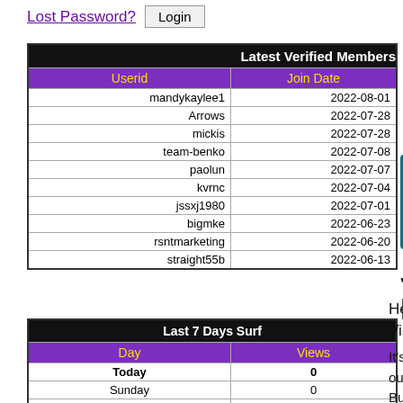Lost Password?   Login
| Latest Verified Members |  |
| --- | --- |
| Userid | Join Date |
| mandykaylee1 | 2022-08-01 |
| Arrows | 2022-07-28 |
| mickis | 2022-07-28 |
| team-benko | 2022-07-08 |
| paolun | 2022-07-07 |
| kvrnc | 2022-07-04 |
| jssxj1980 | 2022-07-01 |
| bigmke | 2022-06-23 |
| rsntmarketing | 2022-06-20 |
| straight55b | 2022-06-13 |
| Last 7 Days Surf |  |
| --- | --- |
| Day | Views |
| Today | 0 |
| Sunday | 0 |
| Monday | 0 |
| Tuesday | 0 |
| Wednesday | 0 |
| Thursday | 0 |
| Friday | 0 |
| Saturday | 0 |
[Figure (infographic): Click to Pay Now banner with payment icons: Mastercard, Cash App, Debit Cards]
JOIN FREE
Here at Solo Colleagues, Is Y... Viral Traffic Tools, Gain L...
It's simple to get started... join righ... our proven methods of advertising! But we don't stop there, ALL memb... account automatically. Plus, i...
Get your share of targeted traffic, l... Pos...
Fast Surf for  credits & prizes! Ser... and reach Net...